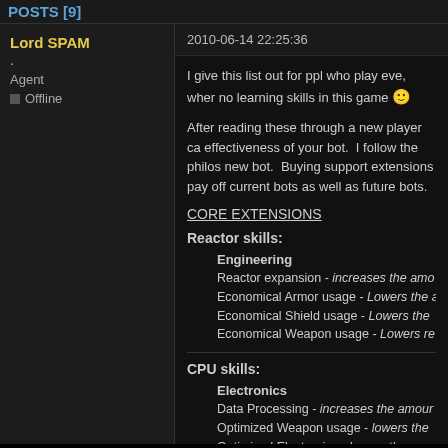POSTS [9]
Lord SPAM
.
Agent
Offline
2010-06-14 22:25:36
I give this list out for ppl who play eve, wher no learning skills in this game 🙂
After reading these through a new player ca effectiveness of your bot.  I follow the philos new bot.  Buying support extensions pay off current bots as well as future bots.
CORE EXTENSIONS
Reactor skills:
Engineering
Reactor expansion - increases the amo
Economical Armor usage - Lowers the
Economical Shield usage - Lowers the
Economical Weapon usage - Lowers re
CPU skills:
Electronics
Data Processing - increases the amour
Optimized Weapon usage - lowers the
Optimized Electronics - lowers the cpu
Indirect reactor expansion - lowers cpu
Accumulator skills: